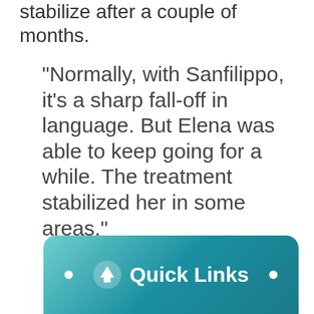stabilize after a couple of months.
“Normally, with Sanfilippo, it’s a sharp fall-off in language. But Elena was able to keep going for a while. The treatment stabilized her in some areas,”
[Figure (other): Quick Links navigation button with upward arrow icon, teal gradient background, white dots on left and right sides]